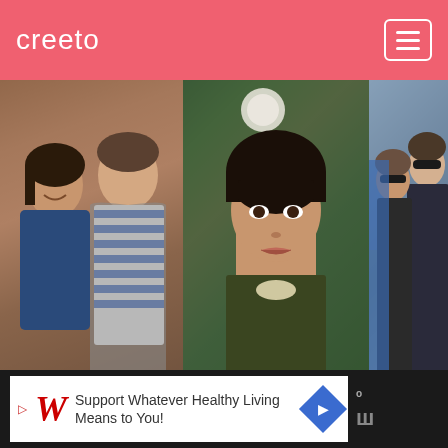creeto
[Figure (photo): Three-photo collage showing Rashida Jones: left photo with a young man in a striped shirt, center close-up portrait, right photo walking with a man in sunglasses and dark jacket]
Who is Rashida Jones Present Boyfriend? Is She Married?
[Figure (other): Advertisement banner: Walgreens 'Support Whatever Healthy Living Means to You!' ad with blue arrow icon and W logo]